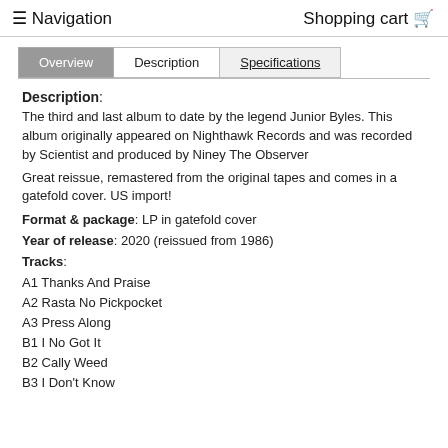≡ Navigation    Shopping cart 🛒
Overview | Description | Specifications
Description: The third and last album to date by the legend Junior Byles. This album originally appeared on Nighthawk Records and was recorded by Scientist and produced by Niney The Observer
Great reissue, remastered from the original tapes and comes in a gatefold cover. US import!
Format & package: LP in gatefold cover
Year of release: 2020 (reissued from 1986)
Tracks:
A1 Thanks And Praise
A2 Rasta No Pickpocket
A3 Press Along
B1 I No Got It
B2 Cally Weed
B3 I Don't Know